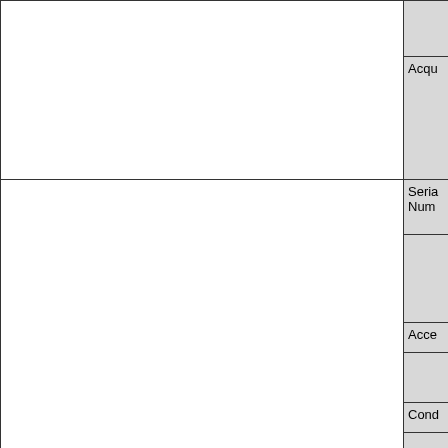| (main content) | Acqu... | Serial Number | Acce... | Cond... |
| --- | --- | --- | --- | --- |
|  | Acqu |
|  | Serial
Numb |
|  | Acce |
|  | Cond |